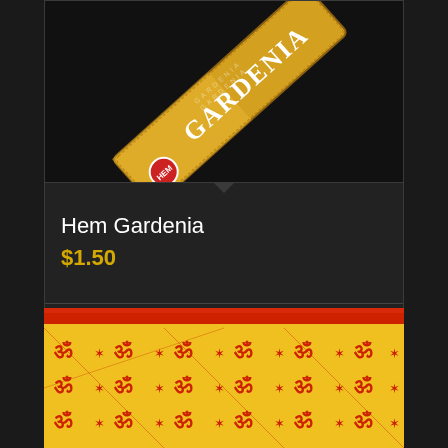[Figure (photo): HEM Gardenia incense box photographed diagonally on dark background, golden/yellow packaging with white text reading GARDENIA]
Hem Gardenia
$1.50
Add to cart
Show Details
[Figure (photo): Yellow fabric/packaging with red Om symbols and decorative patterns arranged in a grid, with a red stripe border at top]